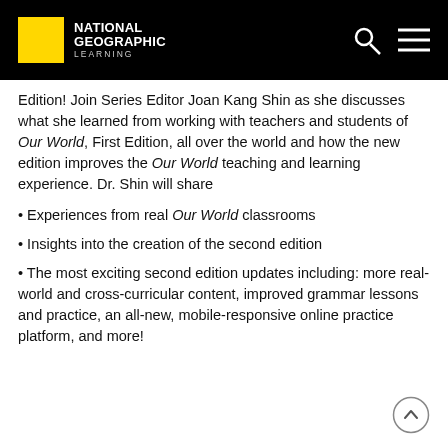[Figure (logo): National Geographic Learning logo with yellow box and white text, plus search and menu icons on black header bar]
Edition! Join Series Editor Joan Kang Shin as she discusses what she learned from working with teachers and students of Our World, First Edition, all over the world and how the new edition improves the Our World teaching and learning experience. Dr. Shin will share
• Experiences from real Our World classrooms
• Insights into the creation of the second edition
• The most exciting second edition updates including: more real-world and cross-curricular content, improved grammar lessons and practice, an all-new, mobile-responsive online practice platform, and more!